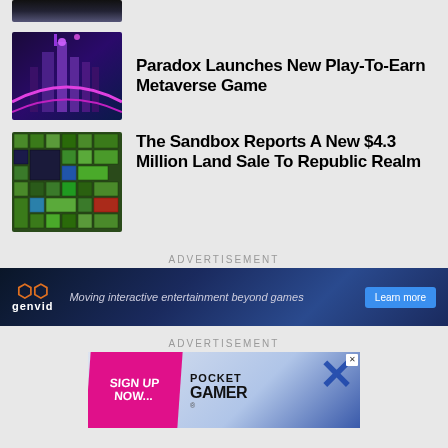[Figure (photo): Partial thumbnail of a dark futuristic/gaming image at the top, cropped]
[Figure (photo): Futuristic neon purple city skyline metaverse game screenshot]
Paradox Launches New Play-To-Earn Metaverse Game
[Figure (photo): Top-down map view of The Sandbox virtual land plot with colorful parcels]
The Sandbox Reports A New $4.3 Million Land Sale To Republic Realm
ADVERTISEMENT
[Figure (other): Genvid advertisement banner: Moving interactive entertainment beyond games, Learn more button]
ADVERTISEMENT
[Figure (other): Pocket Gamer advertisement with Sign Up Now pink banner and blue cross logo]